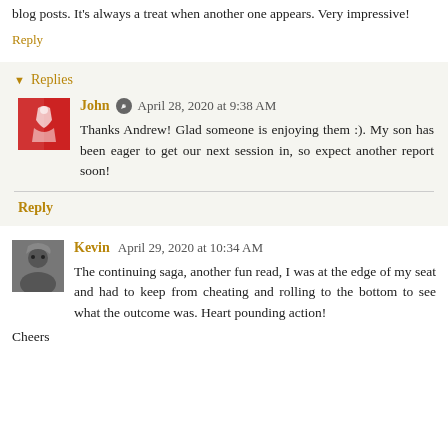blog posts. It's always a treat when another one appears. Very impressive!
Reply
Replies
John  April 28, 2020 at 9:38 AM
Thanks Andrew! Glad someone is enjoying them :). My son has been eager to get our next session in, so expect another report soon!
Reply
Kevin  April 29, 2020 at 10:34 AM
The continuing saga, another fun read, I was at the edge of my seat and had to keep from cheating and rolling to the bottom to see what the outcome was. Heart pounding action!
Cheers